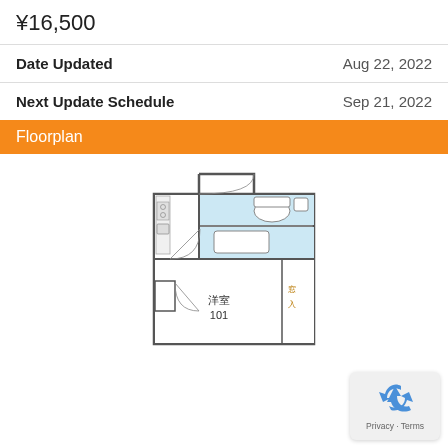¥16,500
| Date Updated | Aug 22, 2022 |
| Next Update Schedule | Sep 21, 2022 |
Floorplan
[Figure (illustration): Apartment floorplan showing a small unit with a western-style room (洋室101), bathroom, toilet, kitchen area with appliances. Black and white architectural floor plan drawing.]
[Figure (logo): reCAPTCHA badge with blue recycling arrow icon and Privacy - Terms text]